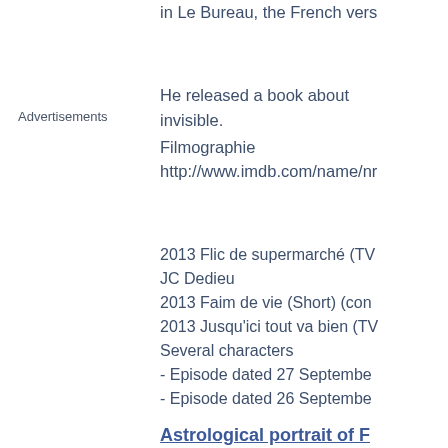in Le Bureau, the French vers
Advertisements
He released a book about invisible.
Filmographie
http://www.imdb.com/name/nr
2013 Flic de supermarché (TV JC Dedieu
2013 Faim de vie (Short) (con
2013 Jusqu'ici tout va bien (TV Several characters
- Episode dated 27 Septembe
- Episode dated 26 Septembe
Astrological portrait of F
Disclaimer: these short excerpts a are, by no means, of a person celebrities included in our databas combination of planets, in signs